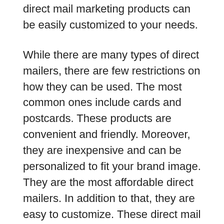direct mail marketing products can be easily customized to your needs.
While there are many types of direct mailers, there are few restrictions on how they can be used. The most common ones include cards and postcards. These products are convenient and friendly. Moreover, they are inexpensive and can be personalized to fit your brand image. They are the most affordable direct mailers. In addition to that, they are easy to customize. These direct mail items also come in many colors and designs, so you can create a unique campaign.
You can also choose to have your own Direct Mailing Products to promote your business. These products come in all shapes and sizes and are available at